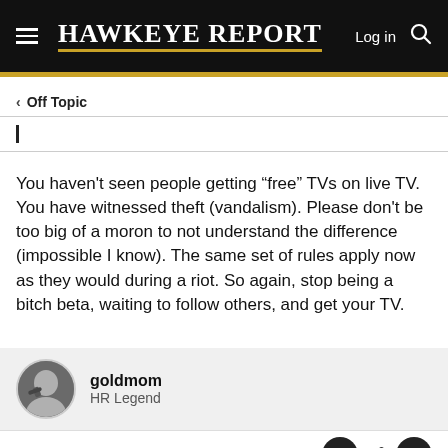Hawkeye Report — Log in
< Off Topic
You haven't seen people getting “free” TVs on live TV. You have witnessed theft (vandalism). Please don't be too big of a moron to not understand the difference (impossible I know). The same set of rules apply now as they would during a riot. So again, stop being a bitch beta, waiting to follow others, and get your TV.
goldmom
HR Legend
May 21, 2022